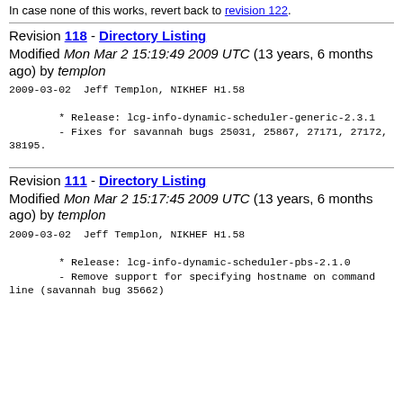In case none of this works, revert back to revision 122.
Revision 118 - Directory Listing
Modified Mon Mar 2 15:19:49 2009 UTC (13 years, 6 months ago) by templon
2009-03-02  Jeff Templon, NIKHEF H1.58

        * Release: lcg-info-dynamic-scheduler-generic-2.3.1
        - Fixes for savannah bugs 25031, 25867, 27171, 27172, 38195.
Revision 111 - Directory Listing
Modified Mon Mar 2 15:17:45 2009 UTC (13 years, 6 months ago) by templon
2009-03-02  Jeff Templon, NIKHEF H1.58

        * Release: lcg-info-dynamic-scheduler-pbs-2.1.0
        - Remove support for specifying hostname on command line (savannah bug 35662)